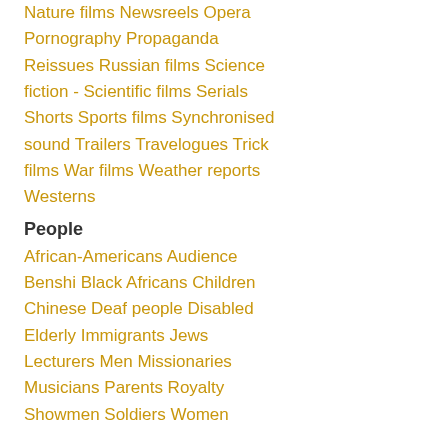Nature films Newsreels Opera
Pornography Propaganda
Reissues Russian films Science
fiction - Scientific films Serials
Shorts Sports films Synchronised
sound Trailers Travelogues Trick
films War films Weather reports
Westerns
People
African-Americans Audience
Benshi Black Africans Children
Chinese Deaf people Disabled
Elderly Immigrants Jews
Lecturers Men Missionaries
Musicians Parents Royalty
Showmen Soldiers Women
Pl…